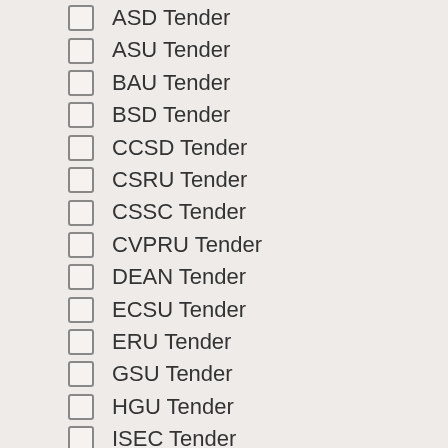ASD Tender
ASU Tender
BAU Tender
BSD Tender
CCSD Tender
CSRU Tender
CSSC Tender
CVPRU Tender
DEAN Tender
ECSU Tender
ERU Tender
GSU Tender
HGU Tender
ISEC Tender
ISI, Kolkata
ISRU Tender
LDISD Tender